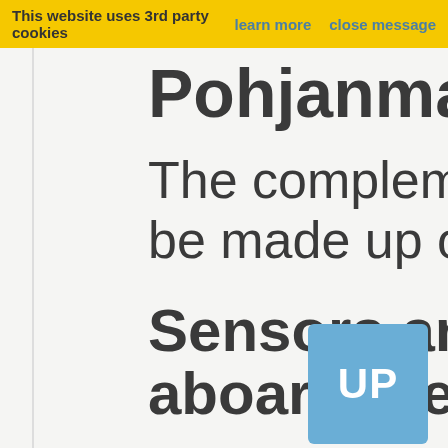This website uses 3rd party cookies  learn more  close message
Pohjanmaa clas
The complement
be made up of ap
Sensors and pr
aboard the Poh
Pohjanmaa  ss
with state of the
[Figure (other): Blue UP button/widget in bottom right corner]